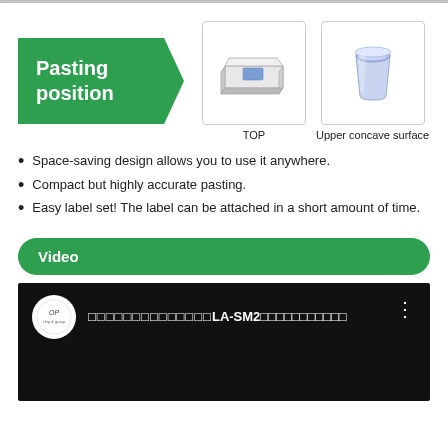[Figure (infographic): Pasting position section with green arrow label and two product images: TOP view of label applicator device and Upper concave surface view showing a cup-like container]
TOP
Upper concave surface
Space-saving design allows you to use it anywhere.
Compact but highly accurate pasting.
Easy label set! The label can be attached in a short amount of time.
Video
[Figure (screenshot): Video player thumbnail showing a dark/black screen with a circular logo (OP/chip & group) on the left, Japanese text and LA-SM2 in the title, and a vertical dots menu icon on the right]